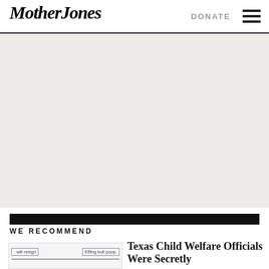Mother Jones
[Figure (other): Advertisement or blank placeholder area with light gray background]
WE RECOMMEND
[Figure (screenshot): Thumbnail image showing text snippets: 'will resign' and 'Effing bull poop.' with blue-bordered boxes]
Texas Child Welfare Officials Were Secretly